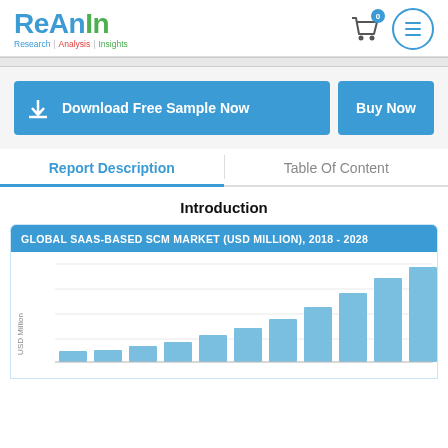ReAnIn Research | Analysis | Insights
Download Free Sample Now
Buy Now
Report Description
Table Of Content
Introduction
[Figure (bar-chart): GLOBAL SAAS-BASED SCM MARKET (USD MILLION), 2018 - 2028]